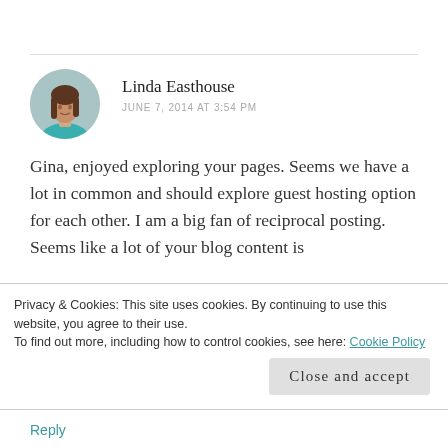Linda Easthouse
JUNE 7, 2014 AT 3:54 PM
Gina, enjoyed exploring your pages. Seems we have a lot in common and should explore guest hosting option for each other. I am a big fan of reciprocal posting. Seems like a lot of your blog content is
Privacy & Cookies: This site uses cookies. By continuing to use this website, you agree to their use. To find out more, including how to control cookies, see here: Cookie Policy
Close and accept
Reply